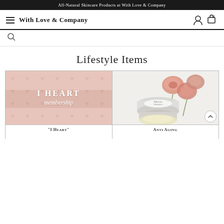All-Natural Skincare Products at With Love & Company
With Love & Company
Lifestyle Items
[Figure (photo): I Heart Membership card with pink heart pattern background showing 'I HEART membership' text in white]
[Figure (photo): Anti Aging Sunblock product in a silver tin with yellow cream visible, surrounded by pink roses on white background]
"I Heart"
Anti Aging